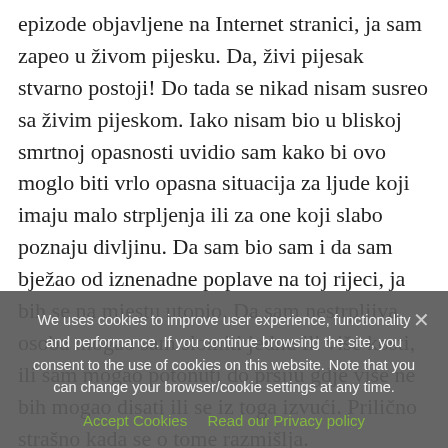epizode objavljene na Internet stranici, ja sam zapeo u živom pijesku. Da, živi pijesak stvarno postoji! Do tada se nikad nisam susreo sa živim pijeskom. Iako nisam bio u bliskoj smrtnoj opasnosti uvidio sam kako bi ovo moglo biti vrlo opasna situacija za ljude koji imaju malo strpljenja ili za one koji slabo poznaju divljinu. Da sam bio sam i da sam bježao od iznenadne poplave na toj rijeci, ja bih se na mjestu utopio. Da sam nestrpljiva osoba mogao sam slomiti jednu ili više kosti, ili sam mogao potonuti do prsiju gdje više ne bih mogao disati ili se iz toga izvući. Prilično strašno kada se o tome razmišlja.
We uses cookies to improve user experience, functionality and performance. If you continue browsing the site, you consent to the use of cookies on this website. Note that you can change your browser/cookie settings at any time.
Accept Cookies   Read our Privacy policy